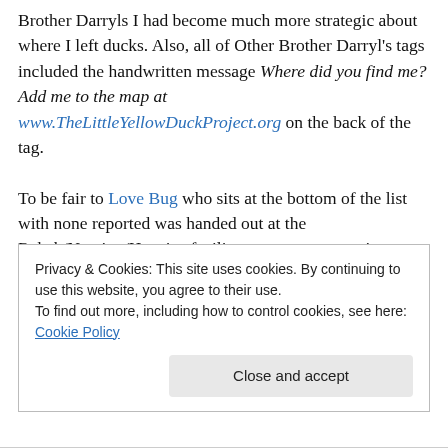Brother Darryls I had become much more strategic about where I left ducks. Also, all of Other Brother Darryl's tags included the handwritten message Where did you find me? Add me to the map at www.TheLittleYellowDuckProject.org on the back of the tag.
To be fair to Love Bug who sits at the bottom of the list with none reported was handed out at the Rehab/Nursing/Hospice facility my aunt was staying at where internet access would have been more limited and...
Privacy & Cookies: This site uses cookies. By continuing to use this website, you agree to their use. To find out more, including how to control cookies, see here: Cookie Policy